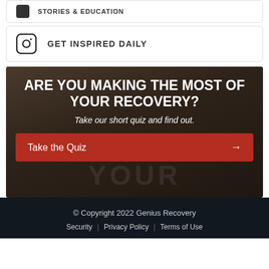[Figure (other): Partial top card showing a dark icon and text 'STORIES & EDUCATION']
[Figure (other): Card with Instagram icon and text 'GET INSPIRED DAILY']
[Figure (other): Dark banner with athletic background image, bold headline 'ARE YOU MAKING THE MOST OF YOUR RECOVERY?', subtext 'Take our short quiz and find out.', and a red 'Take the Quiz' button with arrow]
© Copyright 2022 Genius Recovery
Security | Privacy Policy | Terms of Use